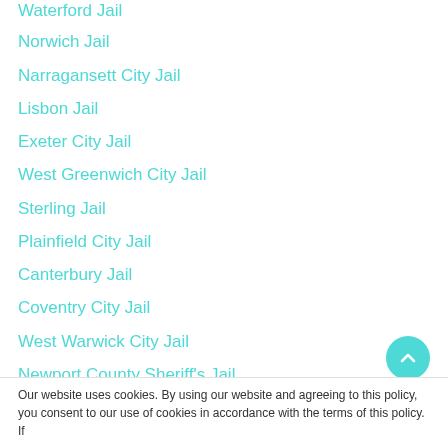Waterford Jail
Norwich Jail
Narragansett City Jail
Lisbon Jail
Exeter City Jail
West Greenwich City Jail
Sterling Jail
Plainfield City Jail
Canterbury Jail
Coventry City Jail
West Warwick City Jail
Newport County Sheriff's Jail
East Greenwich City Jail
Foster City Jail
Kent County Juvenile Correctional Services
Old Saybrook City Jail
Our website uses cookies. By using our website and agreeing to this policy, you consent to our use of cookies in accordance with the terms of this policy. If